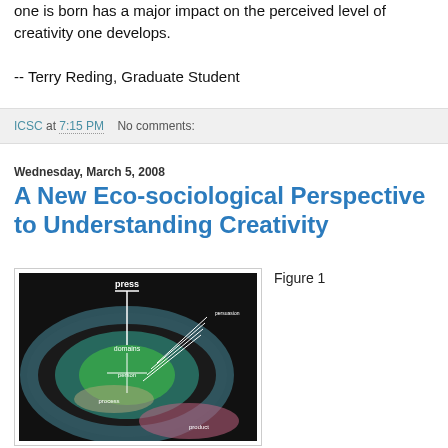one is born has a major impact on the perceived level of creativity one develops.
-- Terry Reding, Graduate Student
ICSC at 7:15 PM    No comments:
Wednesday, March 5, 2008
A New Eco-sociological Perspective to Understanding Creativity
[Figure (illustration): Circular diagram showing the 4 Ps of creativity: press (outermost), domains, person, process, product — with arrows labeled 'persuasion' pointing inward from upper right]
Figure 1